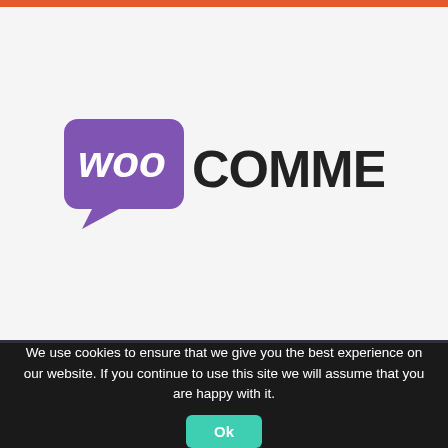[Figure (logo): WooCommerce logo with purple speech bubble 'woo' icon and bold black COMMERCE text on light gray background]
[Figure (logo): BigCommerce logo with white triangle/arrow shape and BIGCOMMERCE text in white on dark navy background]
We use cookies to ensure that we give you the best experience on our website. If you continue to use this site we will assume that you are happy with it.